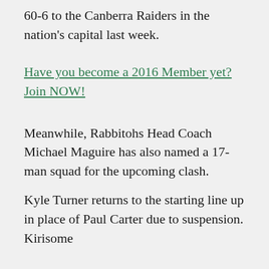60-6 to the Canberra Raiders in the nation's capital last week.
Have you become a 2016 Member yet? Join NOW!
Meanwhile, Rabbitohs Head Coach Michael Maguire has also named a 17-man squad for the upcoming clash.
Kyle Turner returns to the starting line up in place of Paul Carter due to suspension. Kirisome